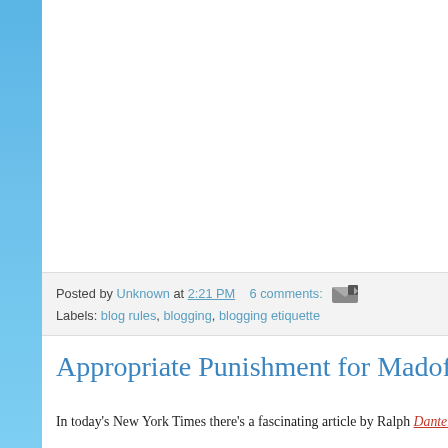Posted by Unknown at 2:21 PM    6 comments:  Labels: blog rules, blogging, blogging etiquette
Appropriate Punishment for Madoff
In today's New York Times there's a fascinating article by Ralph Dante... Basically, the idea is that Madoff got what was coming
Dante was consumed by the sadness and mystery of the sinner: In Dante's frightful underworld, sinners face of worsening torments keyed to their sins. The lustful whirlwind; the violent boil in a river of blood. But bottom, are savaged by the one called emperor of th person.
“You’re buried in ice, because you’ve buried yourself nation’s poet laureate from 1997 to 2000 and a Dante